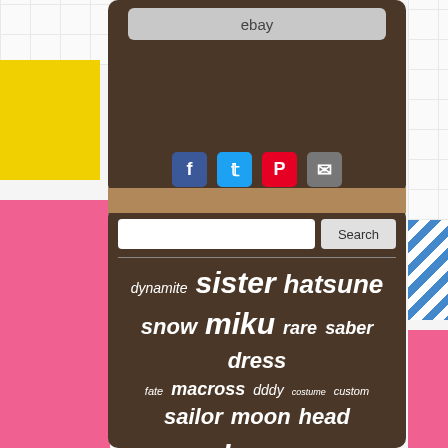[Figure (screenshot): eBay search bar shown in dark brown panel at top]
[Figure (screenshot): Social sharing icons: Facebook, Twitter, Pinterest, Email]
[Figure (screenshot): Search bar with Search button on dark brown panel]
dynamite sister hatsune snow miku rare saber dress fate macross dddy costume custom sailor moon head dream unboxing volks dollfie mini outfit girl limited kagamine super
Tag cloud for ebay listing site related to anime dolls